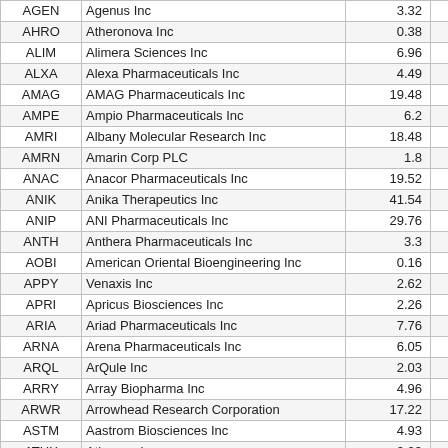| Ticker | Company Name | Price |  |
| --- | --- | --- | --- |
| AGEN | Agenus Inc | 3.32 |  |
| AHRO | Atheronova Inc | 0.38 |  |
| ALIM | Alimera Sciences Inc | 6.96 |  |
| ALXA | Alexa Pharmaceuticals Inc | 4.49 |  |
| AMAG | AMAG Pharmaceuticals Inc | 19.48 | 2 |
| AMPE | Ampio Pharmaceuticals Inc | 6.2 |  |
| AMRI | Albany Molecular Research Inc | 18.48 | 1 |
| AMRN | Amarin Corp PLC | 1.8 |  |
| ANAC | Anacor Pharmaceuticals Inc | 19.52 | 1 |
| ANIK | Anika Therapeutics Inc | 41.54 | 3 |
| ANIP | ANI Pharmaceuticals Inc | 29.76 | 2 |
| ANTH | Anthera Pharmaceuticals Inc | 3.3 |  |
| AOBI | American Oriental Bioengineering Inc | 0.16 |  |
| APPY | Venaxis Inc | 2.62 |  |
| APRI | Apricus Biosciences Inc | 2.26 |  |
| ARIA | Ariad Pharmaceuticals Inc | 7.76 |  |
| ARNA | Arena Pharmaceuticals Inc | 6.05 |  |
| ARQL | ArQule Inc | 2.03 |  |
| ARRY | Array Biopharma Inc | 4.96 |  |
| ARWR | Arrowhead Research Corporation | 17.22 | 2 |
| ASTM | Aastrom Biosciences Inc | 4.93 |  |
| ATHX | Athersys Inc | 3.23 |  |
| AUXL | Auxilium Pharmaceuticals Inc | 28.88 |  |